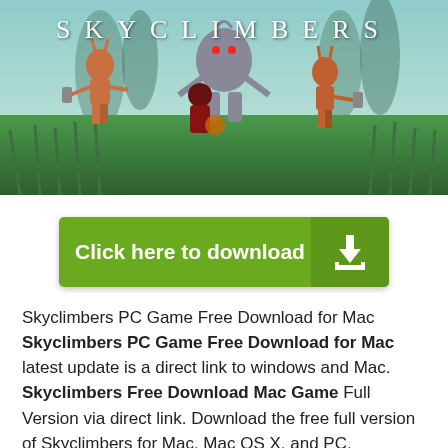[Figure (illustration): Skyclimbers game promotional image showing fantasy characters in a green landscape with the title 'SKYCLIMBERS' at the top in white spaced letters]
[Figure (infographic): Green 'Click here to download' button with download icon on the right side]
Skyclimbers PC Game Free Download for Mac Skyclimbers PC Game Free Download for Mac latest update is a direct link to windows and Mac. Skyclimbers Free Download Mac Game Full Version via direct link. Download the free full version of Skyclimbers for Mac, Mac OS X, and PC. Skyclimbers Game It Is Full And